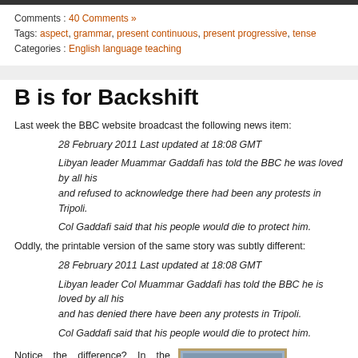Comments : 40 Comments »
Tags: aspect, grammar, present continuous, present progressive, tense
Categories : English language teaching
B is for Backshift
Last week the BBC website broadcast the following news item:
28 February 2011 Last updated at 18:08 GMT
Libyan leader Muammar Gaddafi has told the BBC he was loved by all his and refused to acknowledge there had been any protests in Tripoli.
Col Gaddafi said that his people would die to protect him.
Oddly, the printable version of the same story was subtly different:
28 February 2011 Last updated at 18:08 GMT
Libyan leader Col Muammar Gaddafi has told the BBC he is loved by all his and has denied there have been any protests in Tripoli.
Col Gaddafi said that his people would die to protect him.
Notice the difference? In the webpage version the writer uses backshift (“…he was loved…”) whereas in the printable version he/she does not: “…he is loved…”
In fact, it was the “he was loved” that first attracted
[Figure (photo): Framed portrait photo of Muammar Gaddafi]